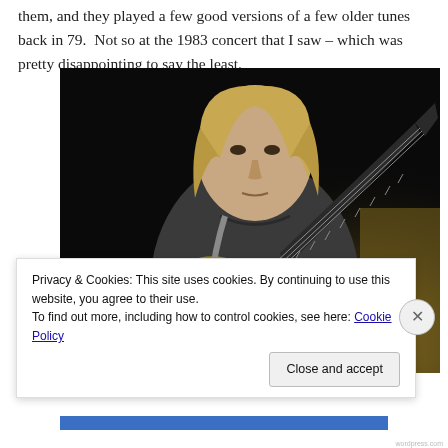them, and they played a few good versions of a few older tunes back in 79.  Not so at the 1983 concert that I saw – which was pretty disappointing to say the least.
[Figure (photo): A middle-aged man with shoulder-length blond hair wearing a dark grey t-shirt, playing a yellow electric guitar on a dark stage.]
Privacy & Cookies: This site uses cookies. By continuing to use this website, you agree to their use.
To find out more, including how to control cookies, see here: Cookie Policy
Close and accept